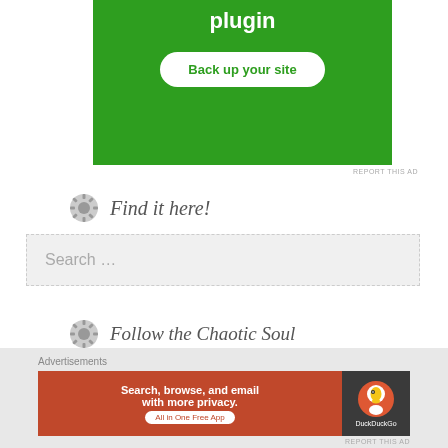[Figure (screenshot): Green advertisement banner showing 'plugin' text and 'Back up your site' button]
REPORT THIS AD
Find it here!
Search ...
Follow the Chaotic Soul
Want a daily dose of chaos?!? Click below.
[Figure (screenshot): DuckDuckGo advertisement banner: Search, browse, and email with more privacy. All in One Free App. DuckDuckGo logo.]
REPORT THIS AD